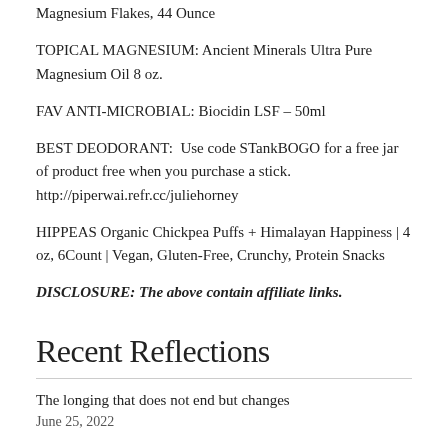Magnesium Flakes, 44 Ounce
TOPICAL MAGNESIUM: Ancient Minerals Ultra Pure Magnesium Oil 8 oz.
FAV ANTI-MICROBIAL: Biocidin LSF – 50ml
BEST DEODORANT:  Use code STankBOGO for a free jar of product free when you purchase a stick. http://piperwai.refr.cc/juliehorney
HIPPEAS Organic Chickpea Puffs + Himalayan Happiness | 4 oz, 6Count | Vegan, Gluten-Free, Crunchy, Protein Snacks
DISCLOSURE: The above contain affiliate links.
Recent Reflections
The longing that does not end but changes
June 25, 2022